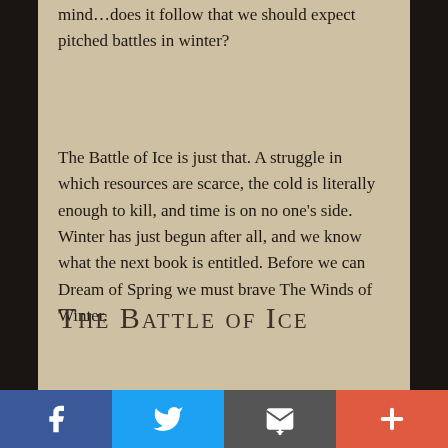mind…does it follow that we should expect pitched battles in winter?
The Battle of Ice is just that. A struggle in which resources are scarce, the cold is literally enough to kill, and time is on no one's side. Winter has just begun after all, and we know what the next book is entitled. Before we can Dream of Spring we must brave The Winds of Winter.
The Battle of Ice